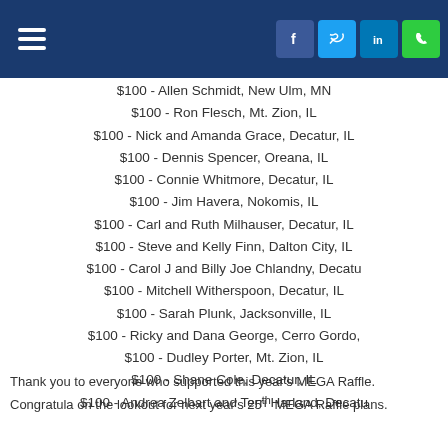Navigation header with hamburger menu and social icons (Facebook, Twitter, LinkedIn, Phone)
$100 - Allen Schmidt, New Ulm, MN
$100 - Ron Flesch, Mt. Zion, IL
$100 - Nick and Amanda Grace, Decatur, IL
$100 - Dennis Spencer, Oreana, IL
$100 - Connie Whitmore, Decatur, IL
$100 - Jim Havera, Nokomis, IL
$100 - Carl and Ruth Milhauser, Decatur, IL
$100 - Steve and Kelly Finn, Dalton City, IL
$100 - Carol J and Billy Joe Chlandny, Decatur,
$100 - Mitchell Witherspoon, Decatur, IL
$100 - Sarah Plunk, Jacksonville, IL
$100 - Ricky and Dana George, Cerro Gordo,
$100 - Dudley Porter, Mt. Zion, IL
$100 - Shane Cole, Decatur, IL
$100 - Andrea Zelhart and Terri Harland, Decatu
Thank you to everyone who supported this year's MEGA Raffle. Congratula on the lookout for next year's 25th MEGA Raffle plans.